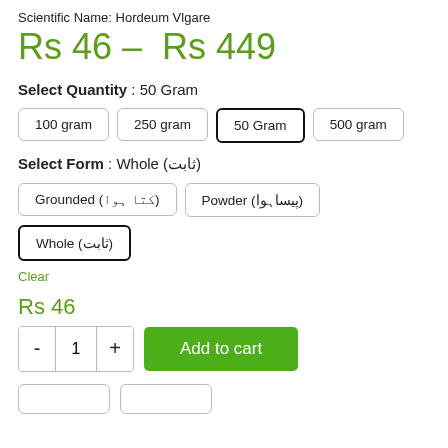Scientific Name: Hordeum Vlgare
Rs 46 – Rs 449
Select Quantity : 50 Gram
100 gram
250 gram
50 Gram (selected)
500 gram
Select Form : Whole (ثابت)
Grounded (کتا ہوا)
Powder (پیساہوا)
Whole (ثابت) (selected)
Clear
Rs 46
- 1 + Add to cart